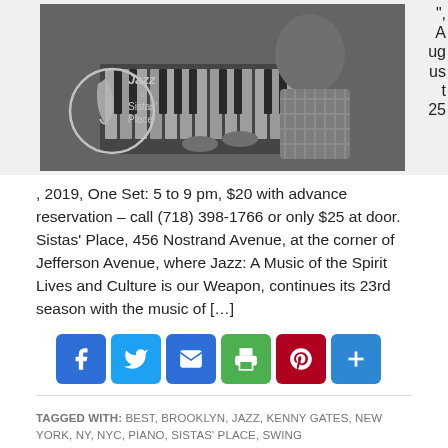[Figure (photo): Black and white photo of a person playing piano with 'Jazz at Sistas' Place' logo/text overlay on the left side]
August 25
, 2019, One Set: 5 to 9 pm, $20 with advance reservation – call (718) 398-1766 or only $25 at door. Sistas' Place, 456 Nostrand Avenue, at the corner of Jefferson Avenue, where Jazz: A Music of the Spirit Lives and Culture is our Weapon, continues its 23rd season with the music of […]
[Figure (infographic): Social sharing buttons row: Facebook, Twitter, Email, Print, Pinterest, Share+]
TAGGED WITH: BEST, BROOKLYN, JAZZ, KENNY GATES, NEW YORK, NY, NYC, PIANO, SISTAS' PLACE, SWING